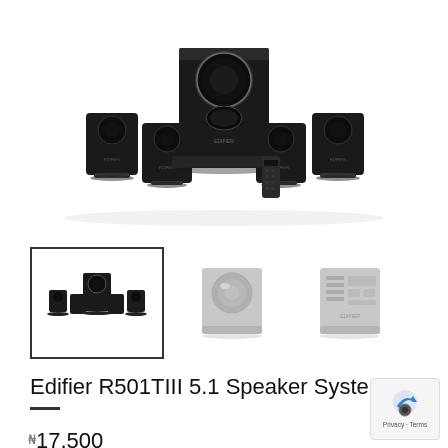[Figure (photo): Edifier R501TIII 5.1 speaker system product photo showing subwoofer in center with 5 satellite speakers and a remote control, all in black finish, on white background]
[Figure (photo): Thumbnail row: selected thumbnail showing full speaker set (black border), second thumbnail showing subwoofer in light gray, third thumbnail showing back panel of subwoofer in light gray]
Edifier R501TIII 5.1 Speaker System
17,500